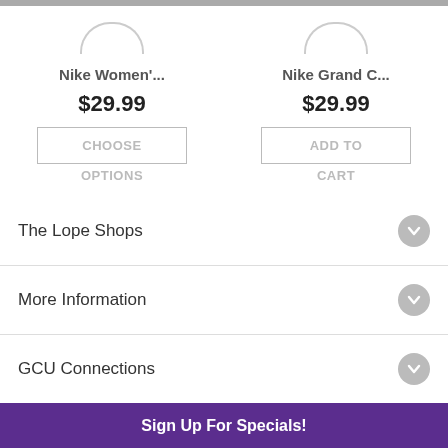[Figure (screenshot): Top gray bar decorative element]
[Figure (illustration): Two product cards showing Nike Women'... and Nike Grand C... both priced at $29.99 with CHOOSE OPTIONS and ADD TO CART buttons]
The Lope Shops
More Information
GCU Connections
Sign Up For Specials!